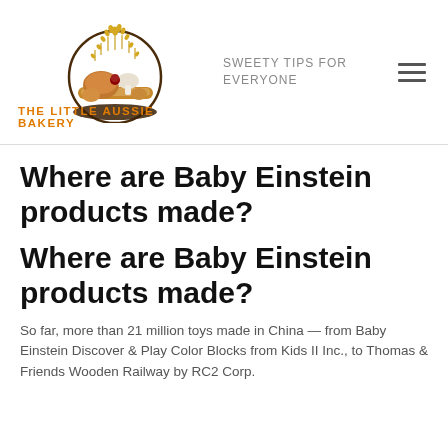[Figure (logo): The Little Aussie Bakery logo — circular badge with wheat, bread and pastries illustration, orange text below reading THE LITTLE AUSSIE BAKERY]
SWEETY TIPS FOR EVERYONE
Where are Baby Einstein products made?
Where are Baby Einstein products made?
So far, more than 21 million toys made in China — from Baby Einstein Discover & Play Color Blocks from Kids II Inc., to Thomas & Friends Wooden Railway by RC2 Corp.